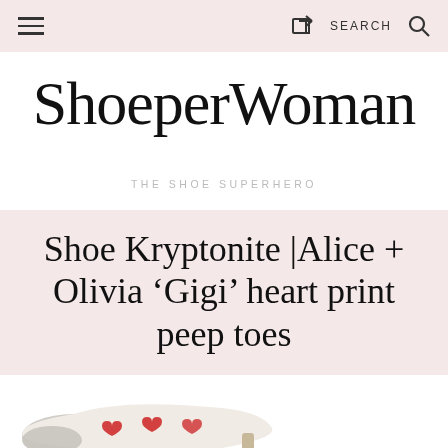≡  [share icon]  SEARCH  🔍
ShoeperWoman
THE SHOE SUPERHERO
Shoe Kryptonite |Alice + Olivia ‘Gigi’ heart print peep toes
[Figure (photo): Partial view of Alice + Olivia Gigi heart print peep toe shoe, cream/ivory with red heart pattern and grey toe cap.]